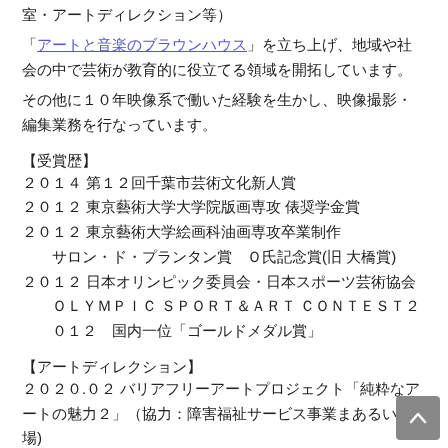室・アートディレクション等）
「アートと音楽のブラウンハウス」を立ち上げ、地域や社会の中で芸術が教育的に役立てる領域を開拓しています。
その他に10年映像系で働いた経験を生かし、映像撮影・編集業務を行なっています。
【受賞歴】
2014 第12回千葉市芸術文化新人賞
2012 東京藝術大学大学院版画専攻 俵奨学金賞
2012 東京藝術大学絵画科油画専攻卒業制作
サロン・ド・プランタン賞　O氏記念賞(旧 大橋賞)
2012 日本オリンピック委員会・日本スポーツ芸術協会
OLYMPIC SPORT&ART CONTEST2012　国内一位「ゴールドメダル賞」
【アートディレクション】
2020.02 バリアフリーアートプロジェクト「純粋なアートの魅力2」（協力：障害福祉サービス事業まあるい広場)
2019.02 バリアフリーアートプロジェクト「純粋なアートの魅力